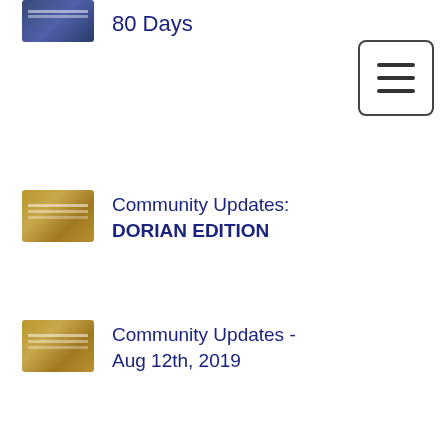80 Days
[Figure (screenshot): Hamburger menu icon button with three horizontal lines]
Community Updates: DORIAN EDITION
Community Updates - Aug 12th, 2019
Community Updates - July 29th, 2019
Community Updates - July [partial]